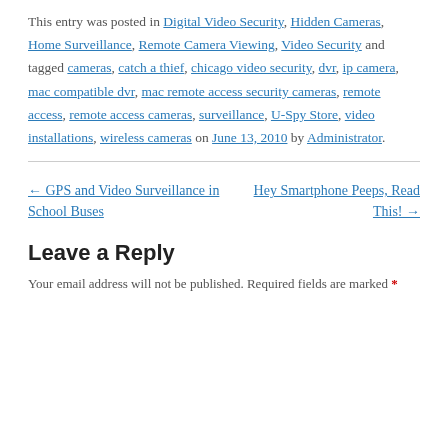This entry was posted in Digital Video Security, Hidden Cameras, Home Surveillance, Remote Camera Viewing, Video Security and tagged cameras, catch a thief, chicago video security, dvr, ip camera, mac compatible dvr, mac remote access security cameras, remote access, remote access cameras, surveillance, U-Spy Store, video installations, wireless cameras on June 13, 2010 by Administrator.
← GPS and Video Surveillance in School Buses
Hey Smartphone Peeps, Read This! →
Leave a Reply
Your email address will not be published. Required fields are marked *